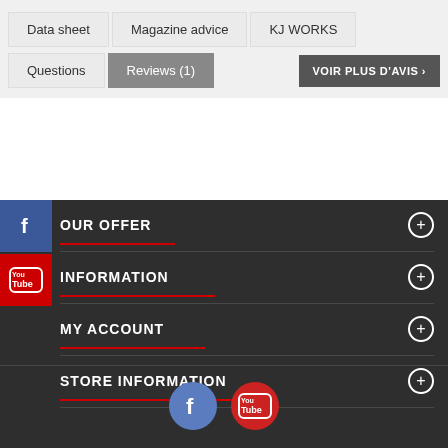Data sheet
Magazine advice
KJ WORKS
Questions
Reviews (1)
VOIR PLUS D'AVIS >
OUR OFFER
INFORMATION
MY ACCOUNT
STORE INFORMATION
[Figure (logo): Facebook icon blue circle]
[Figure (logo): YouTube icon red circle]